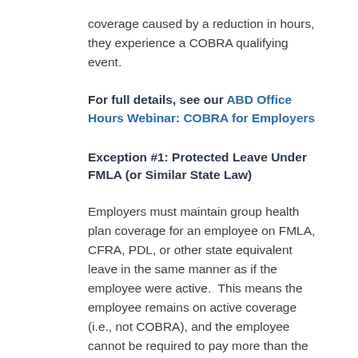coverage caused by a reduction in hours, they experience a COBRA qualifying event.
For full details, see our ABD Office Hours Webinar: COBRA for Employers
Exception #1: Protected Leave Under FMLA (or Similar State Law)
Employers must maintain group health plan coverage for an employee on FMLA, CFRA, PDL, or other state equivalent leave in the same manner as if the employee were active.  This means the employee remains on active coverage (i.e., not COBRA), and the employee cannot be required to pay more than the active employee share of the premium.